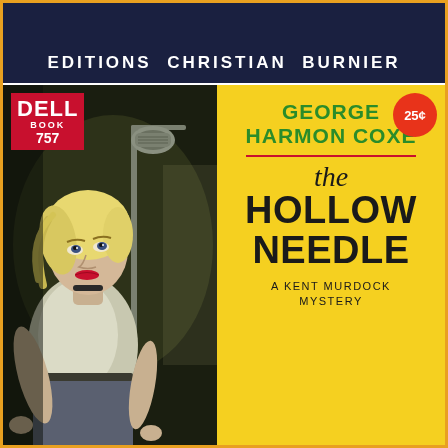EDITIONS CHRISTIAN BURNIER
[Figure (illustration): Vintage pulp fiction book cover illustration showing a frightened blonde woman looking upward, with a radio microphone stand visible beside her, painted in dramatic noir style with dark shadowy background]
DELL BOOK 757
25¢
GEORGE HARMON COXE
the HOLLOW NEEDLE
A KENT MURDOCK MYSTERY